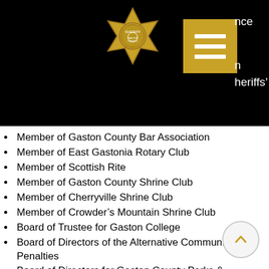[Figure (logo): Gaston County Sheriff badge star logo in gold on black background, with a golden menu/hamburger button icon to the right, and partial white text on the right edge reading 'nce', 'n', 'heriffs’']
Member of Gaston County Bar Association
Member of East Gastonia Rotary Club
Member of Scottish Rite
Member of Gaston County Shrine Club
Member of Cherryville Shrine Club
Member of Crowder’s Mountain Shrine Club
Board of Trustee for Gaston College
Board of Directors of the Alternative Community Penalties
Board of Directors for Gaston County Parks & Recreation
Board of Directors for Gaston County Museum of Art & History